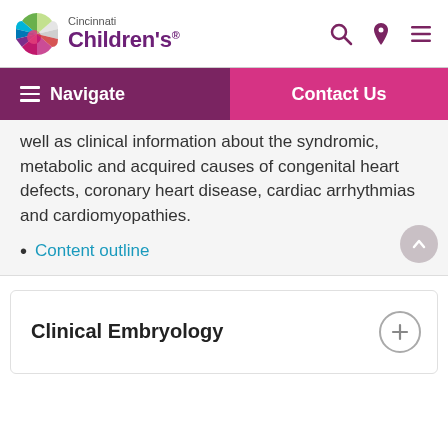Cincinnati Children's
well as clinical information about the syndromic, metabolic and acquired causes of congenital heart defects, coronary heart disease, cardiac arrhythmias and cardiomyopathies.
Content outline
Clinical Embryology